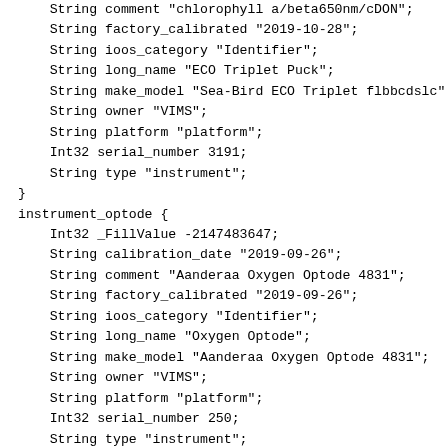String comment "chlorophyll a/beta650nm/cDON";
    String factory_calibrated "2019-10-28";
    String ioos_category "Identifier";
    String long_name "ECO Triplet Puck";
    String make_model "Sea-Bird ECO Triplet flbbcdslc";
    String owner "VIMS";
    String platform "platform";
    Int32 serial_number 3191;
    String type "instrument";
}
instrument_optode {
    Int32 _FillValue -2147483647;
    String calibration_date "2019-09-26";
    String comment "Aanderaa Oxygen Optode 4831";
    String factory_calibrated "2019-09-26";
    String ioos_category "Identifier";
    String long_name "Oxygen Optode";
    String make_model "Aanderaa Oxygen Optode 4831";
    String owner "VIMS";
    String platform "platform";
    Int32 serial_number 250;
    String type "instrument";
}
m_avg_speed {
    Float32 _FillValue 9.96921e+36;
    Float32 actual_range 0.0725775, 0.334662;